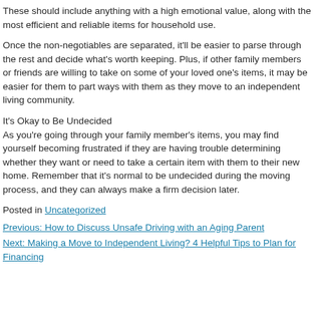These should include anything with a high emotional value, along with the most efficient and reliable items for household use.
Once the non-negotiables are separated, it’ll be easier to parse through the rest and decide what’s worth keeping. Plus, if other family members or friends are willing to take on some of your loved one’s items, it may be easier for them to part ways with them as they move to an independent living community.
It’s Okay to Be Undecided
As you’re going through your family member’s items, you may find yourself becoming frustrated if they are having trouble determining whether they want or need to take a certain item with them to their new home. Remember that it’s normal to be undecided during the moving process, and they can always make a firm decision later.
Posted in Uncategorized
Previous: How to Discuss Unsafe Driving with an Aging Parent
Next: Making a Move to Independent Living? 4 Helpful Tips to Plan for Financing